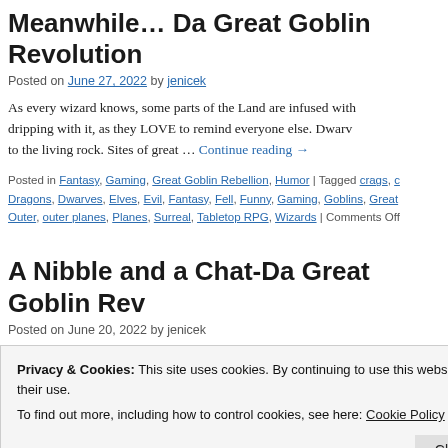Meanwhile… Da Great Goblin Revolution
Posted on June 27, 2022 by jenicek
As every wizard knows, some parts of the Land are infused with it, dripping with it, as they LOVE to remind everyone else. Dwarves to the living rock. Sites of great … Continue reading →
Posted in Fantasy, Gaming, Great Goblin Rebellion, Humor | Tagged crags, c Dragons, Dwarves, Elves, Evil, Fantasy, Fell, Funny, Gaming, Goblins, Great Outer, outer planes, Planes, Surreal, Tabletop RPG, Wizards | Comments Off
A Nibble and a Chat-Da Great Goblin Rev
Posted on June 20, 2022 by jenicek
Privacy & Cookies: This site uses cookies. By continuing to use this website, you agree to their use.
To find out more, including how to control cookies, see here: Cookie Policy
Close and accept